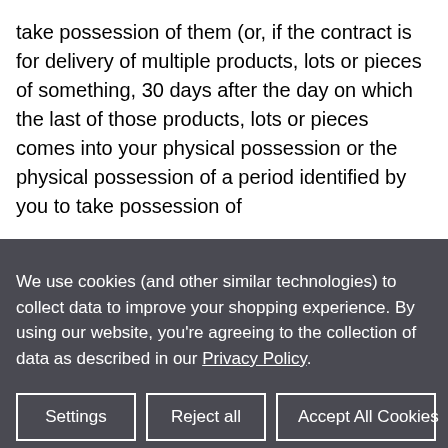take possession of them (or, if the contract is for delivery of multiple products, lots or pieces of something, 30 days after the day on which the last of those products, lots or pieces comes into your physical possession or the physical possession of a period identified by you to take possession of
We use cookies (and other similar technologies) to collect data to improve your shopping experience. By using our website, you're agreeing to the collection of data as described in our Privacy Policy.